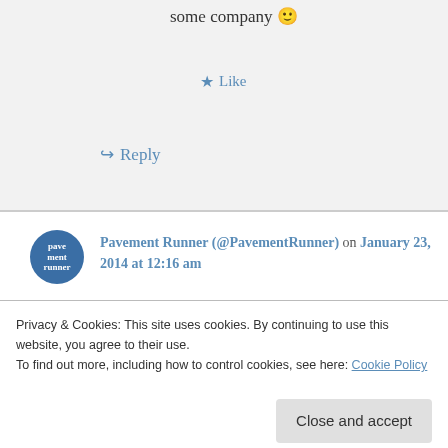some company 🙂
★ Like
↪ Reply
Pavement Runner (@PavementRunner) on January 23, 2014 at 12:16 am
I giggled a little at the stick/snake part… mostly because I can imagine hubby laughing at it. Also, when you were walking around the apartment in
Privacy & Cookies: This site uses cookies. By continuing to use this website, you agree to their use.
To find out more, including how to control cookies, see here: Cookie Policy
Close and accept
★ Like